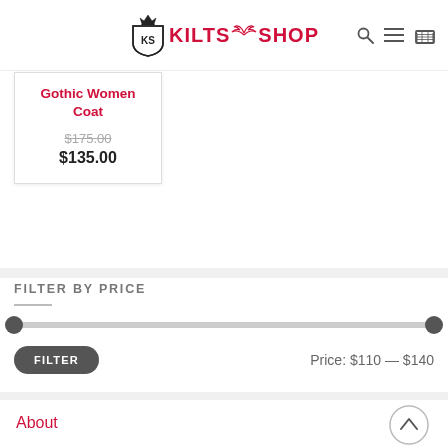[Figure (logo): Kilts Shop logo with crown and shield emblem, red text reading KILTS SHOP]
[Figure (infographic): Product card for Gothic Women Coat showing original price $175.00 strikethrough and sale price $135.00]
FILTER BY PRICE
[Figure (infographic): Price range slider from $110 to $140 with two handles, FILTER button and price label]
Price: $110 — $140
About